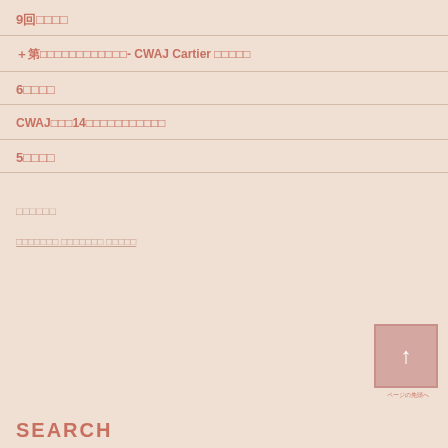9回（日本語）
＋第〇回奨学金審査会（日本語）- CWAJ Cartier 奨学金
6月（日本語）
CWAJ第〇回14回奨学金奨学生奨学金奨学生
5回（日本語）
奨学金奨学生
奨学金奨学生奨学金奨学生奨学
SEARCH